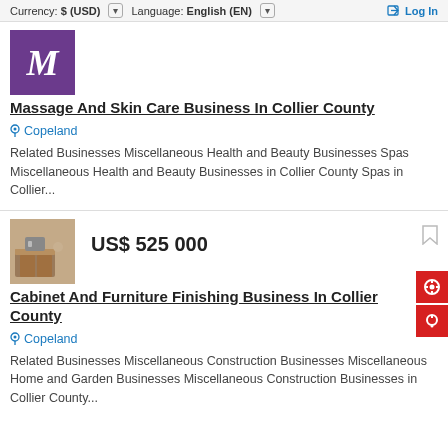Currency: $ (USD) ▾   Language: English (EN) ▾   Log In
[Figure (logo): Purple square with white letter M]
Massage And Skin Care Business In Collier County
Copeland
Related Businesses Miscellaneous Health and Beauty Businesses Spas Miscellaneous Health and Beauty Businesses in Collier County Spas in Collier...
[Figure (photo): Photo of a wooden cabinet or vanity with objects on top]
US$ 525 000
Cabinet And Furniture Finishing Business In Collier County
Copeland
Related Businesses Miscellaneous Construction Businesses Miscellaneous Home and Garden Businesses Miscellaneous Construction Businesses in Collier County...